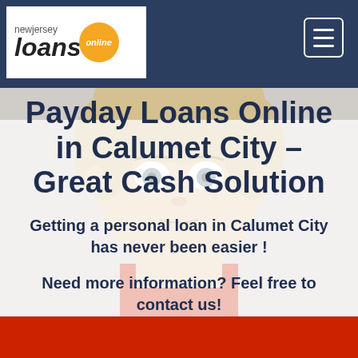[Figure (logo): New Jersey Loans Online logo — word 'loans' in bold italic, 'newjersey' above in grey, orange circle with 'online' text]
[Figure (photo): Background photo of a person with light hair making a surprised/wide-eyed expression, wearing a red shirt, shown from shoulders up]
Payday Loans Online in Calumet City – Great Cash Solution
Getting a personal loan in Calumet City has never been easier !
Need more information? Feel free to contact us!